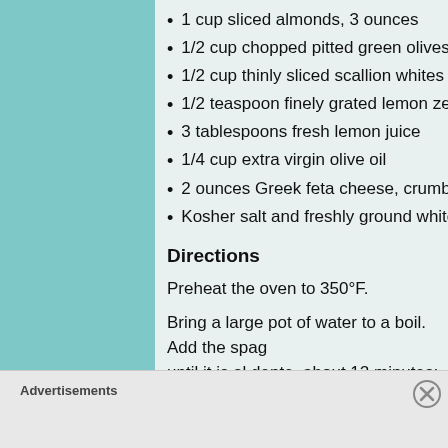1 cup sliced almonds, 3 ounces
1/2 cup chopped pitted green olives, such
1/2 cup thinly sliced scallion whites
1/2 teaspoon finely grated lemon zest
3 tablespoons fresh lemon juice
1/4 cup extra virgin olive oil
2 ounces Greek feta cheese, crumbled (1/4
Kosher salt and freshly ground white pepp
Directions
Preheat the oven to 350°F.
Bring a large pot of water to a boil. Add the spag until it is al dente, about 12 minutes; drain. Plac halves cut side down on a rack and let cool for 15
Advertisements